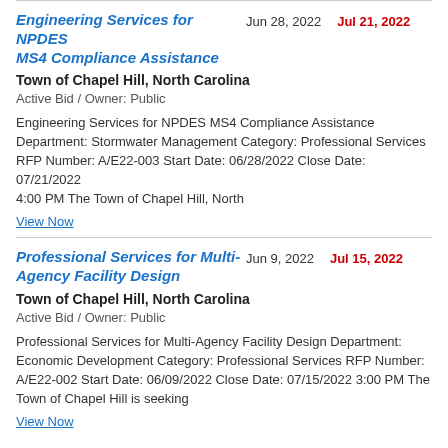Engineering Services for NPDES MS4 Compliance Assistance
Jun 28, 2022
Jul 21, 2022
Town of Chapel Hill, North Carolina
Active Bid / Owner: Public
Engineering Services for NPDES MS4 Compliance Assistance Department: Stormwater Management Category: Professional Services RFP Number: A/E22-003 Start Date: 06/28/2022 Close Date: 07/21/2022 4:00 PM The Town of Chapel Hill, North
View Now
Professional Services for Multi-Agency Facility Design
Jun 9, 2022
Jul 15, 2022
Town of Chapel Hill, North Carolina
Active Bid / Owner: Public
Professional Services for Multi-Agency Facility Design Department: Economic Development Category: Professional Services RFP Number: A/E22-002 Start Date: 06/09/2022 Close Date: 07/15/2022 3:00 PM The Town of Chapel Hill is seeking
View Now